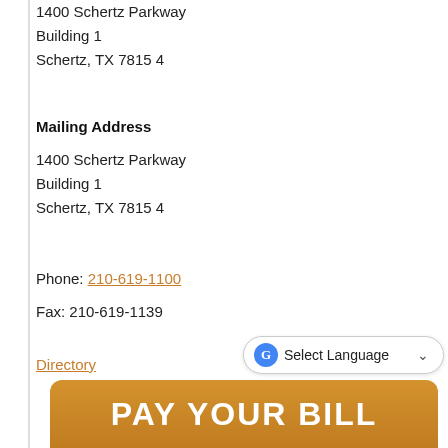1400 Schertz Parkway
Building 1
Schertz, TX 78154
Mailing Address
1400 Schertz Parkway
Building 1
Schertz, TX 78154
Phone: 210-619-1100
Fax: 210-619-1139
Directory
[Figure (screenshot): Orange 'PAY YOUR BILL' banner button at the bottom of the page, with a Google Translate 'Select Language' dropdown widget overlaid in the top-right of the banner area]